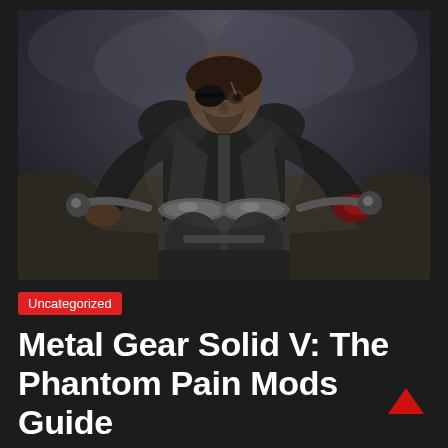[Figure (screenshot): Screenshot from Metal Gear Solid V: The Phantom Pain showing the main character Big Boss wearing a black leather jacket and eye patch, sitting on a motorcycle with large exhaust pipes, set against a dark cloudy background.]
Uncategorized
Metal Gear Solid V: The Phantom Pain Mods Guide